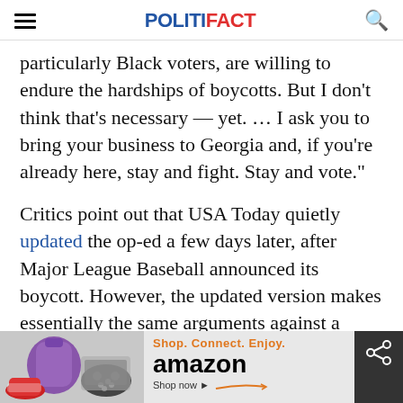POLITIFACT
particularly Black voters, are willing to endure the hardships of boycotts. But I don't think that's necessary — yet. … I ask you to bring your business to Georgia and, if you're already here, stay and fight. Stay and vote."
Critics point out that USA Today quietly updated the op-ed a few days later, after Major League Baseball announced its boycott. However, the updated version makes essentially the same arguments against a boycott
[Figure (other): Amazon advertisement banner at bottom of page with product images (shoes, gaming controller, laptop bag) and text: Shop. Connect. Enjoy. amazon Shop now]